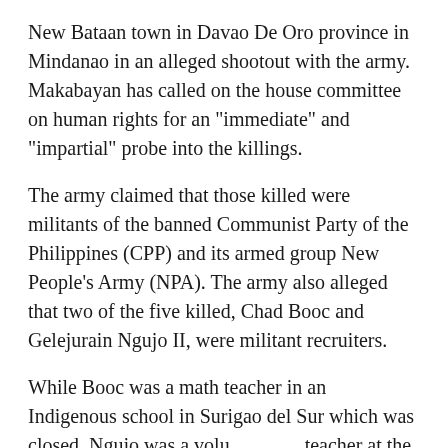New Bataan town in Davao De Oro province in Mindanao in an alleged shootout with the army. Makabayan has called on the house committee on human rights for an "immediate" and "impartial" probe into the killings.
The army claimed that those killed were militants of the banned Communist Party of the Philippines (CPP) and its armed group New People's Army (NPA). The army also alleged that two of the five killed, Chad Booc and Gelejurain Ngujo II, were militant recruiters.
While Booc was a math teacher in an Indigenous school in Surigao del Sur which was closed, Ngujo was a volunteer teacher at the Community Technical College of Southern Mindanao. The other three who were killed were community health worker Elgyn Balonga and two drivers.
Shortly after the army publicized the incident on February 25, progressive movements and Indigenous rights groups decried the killings as another violent incident of red-